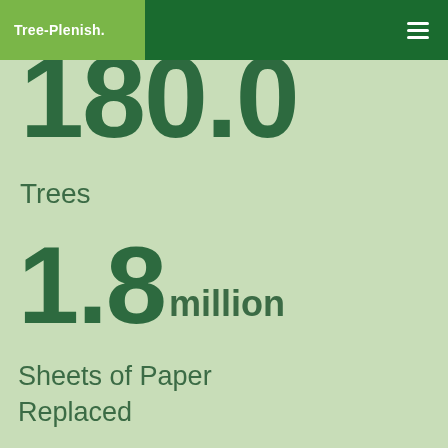Tree-Plenish.
180.0
Trees
1.8 million
Sheets of Paper Replaced